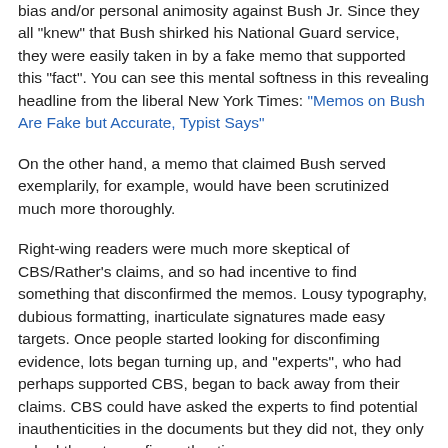bias and/or personal animosity against Bush Jr. Since they all "knew" that Bush shirked his National Guard service, they were easily taken in by a fake memo that supported this "fact". You can see this mental softness in this revealing headline from the liberal New York Times: "Memos on Bush Are Fake but Accurate, Typist Says"
On the other hand, a memo that claimed Bush served exemplarily, for example, would have been scrutinized much more thoroughly.
Right-wing readers were much more skeptical of CBS/Rather's claims, and so had incentive to find something that disconfirmed the memos. Lousy typography, dubious formatting, inarticulate signatures made easy targets. Once people started looking for disconfiming evidence, lots began turning up, and "experts", who had perhaps supported CBS, began to back away from their claims. CBS could have asked the experts to find potential inauthenticities in the documents but they did not, they only asked them to confim authenticy.